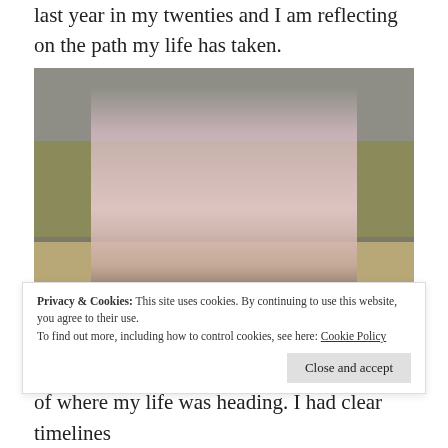last year in my twenties and I am reflecting on the path my life has taken.
[Figure (photo): A woman wearing pink blazer and sunglasses, leaning forward outdoors near a parking lot with grass in background.]
Privacy & Cookies: This site uses cookies. By continuing to use this website, you agree to their use.
To find out more, including how to control cookies, see here: Cookie Policy
Close and accept
of where my life was heading. I had clear timelines